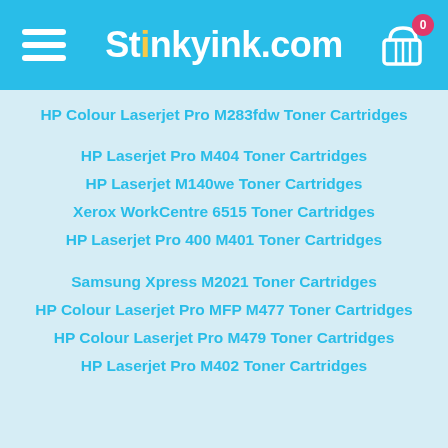Stinkyink.com
HP Colour Laserjet Pro M283fdw Toner Cartridges
HP Laserjet Pro M404 Toner Cartridges
HP Laserjet M140we Toner Cartridges
Xerox WorkCentre 6515 Toner Cartridges
HP Laserjet Pro 400 M401 Toner Cartridges
Samsung Xpress M2021 Toner Cartridges
HP Colour Laserjet Pro MFP M477 Toner Cartridges
HP Colour Laserjet Pro M479 Toner Cartridges
HP Laserjet Pro M402 Toner Cartridges